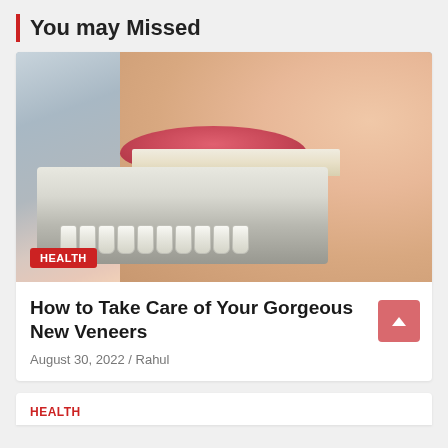You may Missed
[Figure (photo): Close-up photo of a person's mouth with dental veneers being compared against their teeth using a veneer shade guide/sample strip, with a red HEALTH badge overlay in the lower-left corner]
How to Take Care of Your Gorgeous New Veneers
August 30, 2022 / Rahul
HEALTH